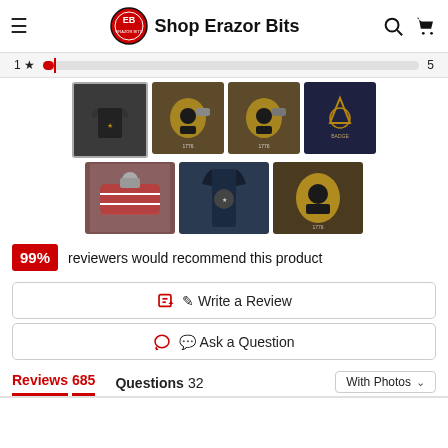Shop Erazor Bits
[Figure (screenshot): Rating bar row showing 1 star to 5 star range with red fill bar]
[Figure (photo): Grid of 7 product/review photos: t-shirt, skull designs, badge design, face mask, person back view, skull graphic]
99% reviewers would recommend this product
Write a Review
Ask a Question
Reviews 685  Questions 32
With Photos